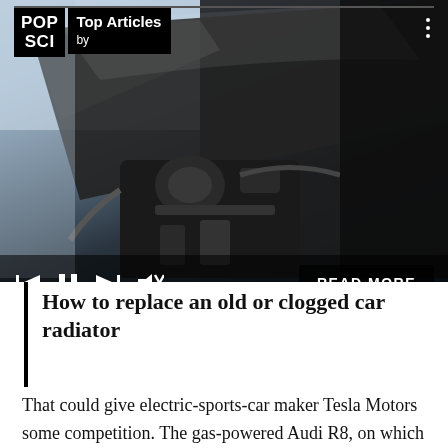[Figure (photo): Car engine visible with hood open — dark toned automotive photo used as hero image for article. Overlaid with POP SCI logo, Top Articles label, media playback controls, and READ MORE button.]
How to replace an old or clogged car radiator
That could give electric-sports-car maker Tesla Motors some competition. The gas-powered Audi R8, on which the E-tron is based, is one of the hottest cars on the planet. Why go to the relatively unproven Tesla for $101,500 model perhaps...an Audi R8...